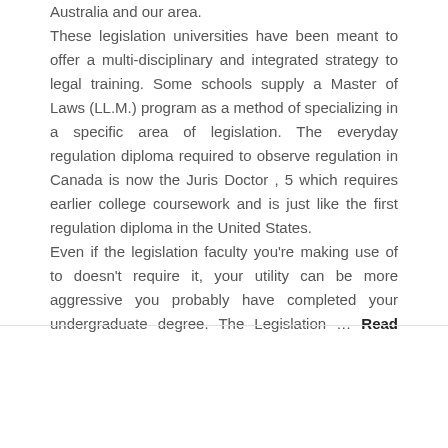Australia and our area. These legislation universities have been meant to offer a multi-disciplinary and integrated strategy to legal training. Some schools supply a Master of Laws (LL.M.) program as a method of specializing in a specific area of legislation. The everyday regulation diploma required to observe regulation in Canada is now the Juris Doctor , 5 which requires earlier college coursework and is just like the first regulation diploma in the United States. Even if the legislation faculty you're making use of to doesn't require it, your utility can be more aggressive you probably have completed your undergraduate degree. The Legislation … Read More
Law Education